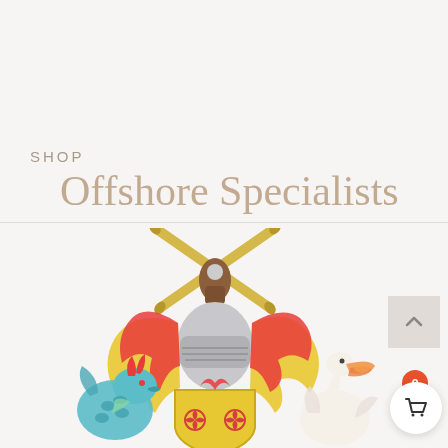SHOP
Offshore Specialists
[Figure (illustration): Partial coat of arms illustration showing a heraldic crest with crossed sugar canes held by a dark hand above a knight's helmet with red and yellow mantling, flanked by a teal/green dragon on the left and a white pelican on the right, with a yellow shield bearing red floral motifs below]